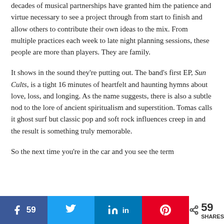decades of musical partnerships have granted him the patience and virtue necessary to see a project through from start to finish and allow others to contribute their own ideas to the mix. From multiple practices each week to late night planning sessions, these people are more than players. They are family.
It shows in the sound they're putting out. The band's first EP, Sun Cults, is a tight 16 minutes of heartfelt and haunting hymns about love, loss, and longing. As the name suggests, there is also a subtle nod to the lore of ancient spiritualism and superstition. Tomas calls it ghost surf but classic pop and soft rock influences creep in and the result is something truly memorable.
So the next time you're in the car and you see the term
59  59 SHARES